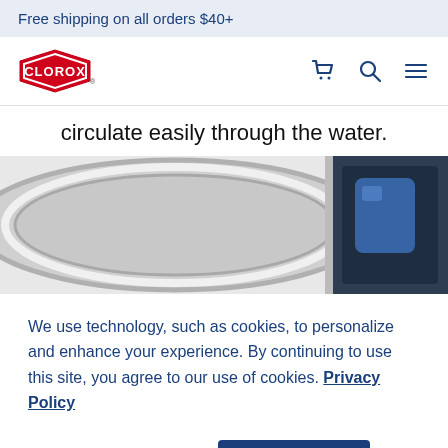Free shipping on all orders $40+
[Figure (logo): Clorox logo - red diamond shape with white CLOROX text]
circulate easily through the water.
[Figure (photo): Close-up of a washing machine drum with a dark dispenser compartment containing blue laundry pods]
We use technology, such as cookies, to personalize and enhance your experience. By continuing to use this site, you agree to our use of cookies. Privacy Policy
Cookie Settings
Got It